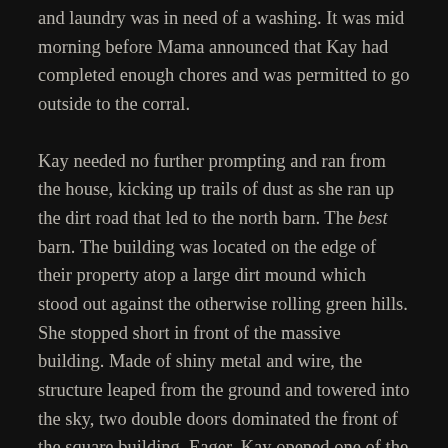and laundry was in need of a washing. It was mid morning before Mama announced that Kay had completed enough chores and was permitted to go outside to the corral.
Kay needed no further prompting and ran from the house, kicking up trails of dust as she ran up the dirt road that led to the north barn. The best barn. The building was located on the edge of their property atop a large dirt mound which stood out against the otherwise rolling green hills. She stopped short in front of the massive building. Made of shiny metal and wire, the structure leaped from the ground and towered into the sky, two double doors dominated the front of the square building. Eager, Kay opened one of the doors.